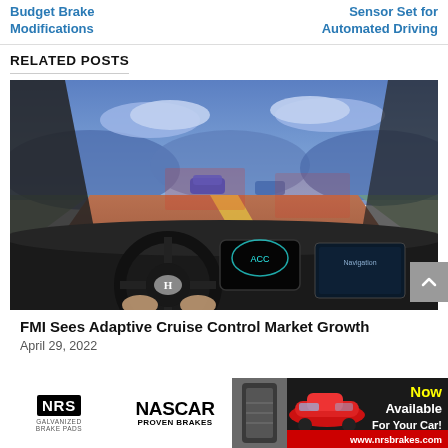Budget Brake Modifications
Sensor Set for Automated Driving
RELATED POSTS
[Figure (photo): Interior view of a Honda vehicle dashboard with steering wheel, showing an adaptive cruise control visualization with cars on a highway as seen through the windshield, with red detection overlay graphics]
FMI Sees Adaptive Cruise Control Market Growth
April 29, 2022
[Figure (photo): NRS Galvanized Brake Pads advertisement banner featuring NASCAR Proven Brakes logo and a red NASCAR race car, with text 'Now Available For Your Car!' and website www.nrsbrakes.com]